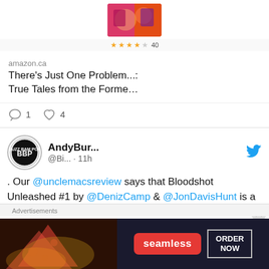[Figure (photo): Book cover image with colorful cartoon characters]
★★★★½ 40
amazon.ca
There's Just One Problem...: True Tales from the Forme…
1  4
[Figure (logo): Buzz Bam Pop BBP circular logo]
AndyBur... @Bi... · 11h
. Our @unclemacsreview says that Bloodshot Unleashed #1 by @DenizCamp & @JonDavisHunt is a solid first issue that welcomes
Advertisements
[Figure (photo): Seamless food delivery advertisement banner with pizza and ORDER NOW button]